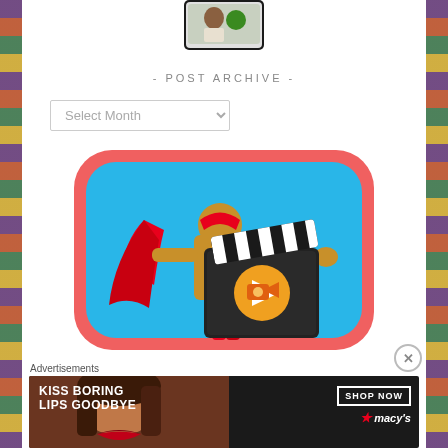[Figure (screenshot): Partial phone/tablet screenshot at top of page showing a person with a green element]
- POST ARCHIVE -
[Figure (illustration): Illustration of a superhero figure with red cape holding a film clapperboard with a video play icon, set against a blue rounded-rectangle background with coral/pink border]
Advertisements
[Figure (other): Macy's advertisement banner: KISS BORING LIPS GOODBYE with SHOP NOW button and Macy's star logo, showing a woman's face with red lips]